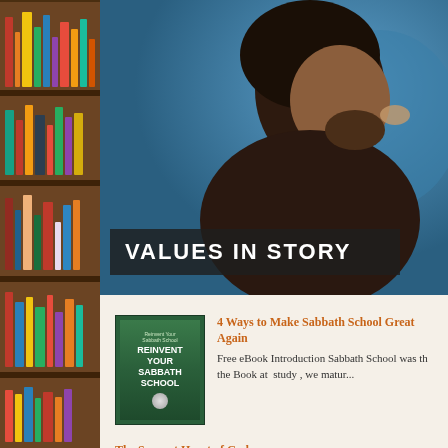[Figure (photo): Left side bookshelf with colorful books on wooden shelves]
[Figure (photo): Man speaking in profile view against blue background with VALUES IN STORY text overlay]
VALUES IN STORY
[Figure (photo): Book cover: Reinvent Your Sabbath School]
4 Ways to Make Sabbath School Great Again
Free eBook Introduction Sabbath School was th the Book at  study , we matur...
The Servant Heart of God
A oneliner in an online Bible-study lecture just made me laugh the God of the Old T...